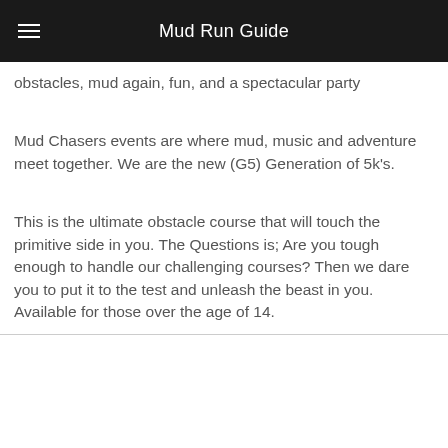Mud Run Guide
obstacles, mud again, fun, and a spectacular party
Mud Chasers events are where mud, music and adventure meet together. We are the new (G5) Generation of 5k's.
This is the ultimate obstacle course that will touch the primitive side in you. The Questions is; Are you tough enough to handle our challenging courses? Then we dare you to put it to the test and unleash the beast in you. Available for those over the age of 14.